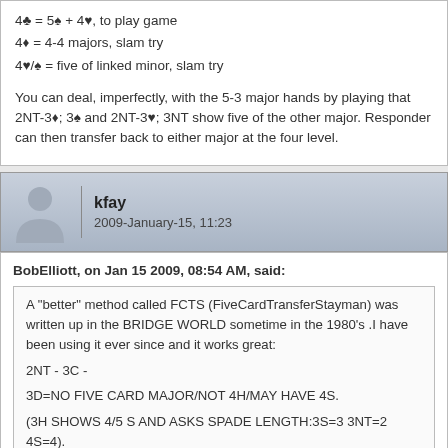4♣ = 5♠ + 4♥, to play game
4♦ = 4-4 majors, slam try
4♥/♠ = five of linked minor, slam try
You can deal, imperfectly, with the 5-3 major hands by playing that 2NT-3♦; 3♠ and 2NT-3♥; 3NT show five of the other major. Responder can then transfer back to either major at the four level.
kfay
2009-January-15, 11:23
BobElliott, on Jan 15 2009, 08:54 AM, said:
A "better" method called FCTS (FiveCardTransferStayman) was written up in the BRIDGE WORLD sometime in the 1980's .I have been using it ever since and it works great:
2NT - 3C -
3D=NO FIVE CARD MAJOR/NOT 4H/MAY HAVE 4S.
(3H SHOWS 4/5 S AND ASKS SPADE LENGTH:3S=3 3NT=2 4S=4).
(3S SHOWS 3S & 5H).
3H=4/5 H & NOT 4S (3S ASKS: 3NT=4H 4H=5H).
3S= 5S.
4NT=4 MAJORS: THEN 4S & 4S ARE TEXAS TRANSFERS!